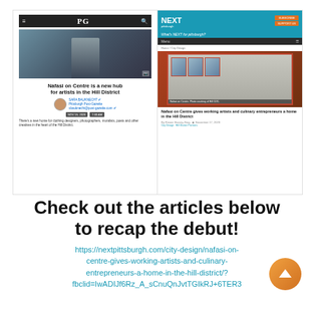[Figure (screenshot): Side-by-side screenshots of two news articles about Nafasi on Centre: left is Pittsburgh Post-Gazette ('Nafasi on Centre is a new hub for artists in the Hill District'), right is Next Pittsburgh ('Nafasi on Centre gives working artists and culinary entrepreneurs a home in the Hill District').]
Check out the articles below to recap the debut!
https://nextpittsburgh.com/city-design/nafasi-on-centre-gives-working-artists-and-culinary-entrepreneurs-a-home-in-the-hill-district/?fbclid=IwADIJf6Rz_A_sCnuQnJvtTGIkRJ+6TER3...